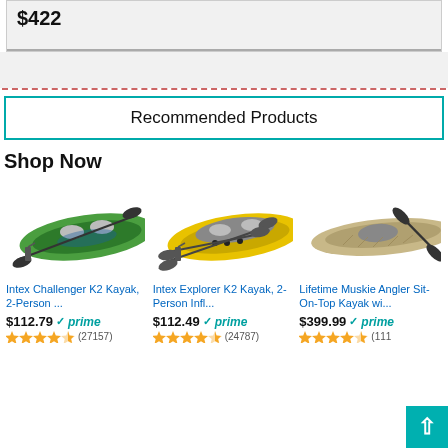Recommended Products
Shop Now
[Figure (photo): Intex Challenger K2 Kayak green inflatable with paddle]
Intex Challenger K2 Kayak, 2-Person ...
$112.79 prime (27157)
[Figure (photo): Intex Explorer K2 Kayak yellow inflatable with paddle]
Intex Explorer K2 Kayak, 2-Person Infl...
$112.49 prime (24787)
[Figure (photo): Lifetime Muskie Angler Sit-On-Top Kayak tan with paddle]
Lifetime Muskie Angler Sit-On-Top Kayak wi...
$399.99 prime (111...)